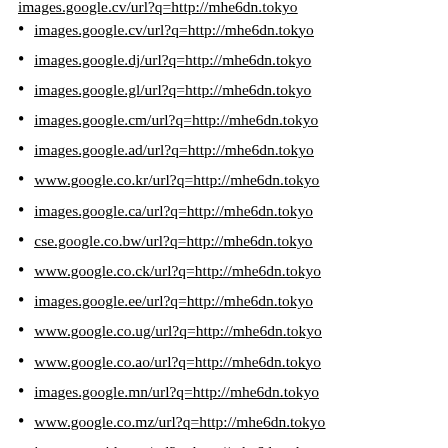images.google.cv/url?q=http://mhe6dn.tokyo
images.google.dj/url?q=http://mhe6dn.tokyo
images.google.gl/url?q=http://mhe6dn.tokyo
images.google.cm/url?q=http://mhe6dn.tokyo
images.google.ad/url?q=http://mhe6dn.tokyo
www.google.co.kr/url?q=http://mhe6dn.tokyo
images.google.ca/url?q=http://mhe6dn.tokyo
cse.google.co.bw/url?q=http://mhe6dn.tokyo
www.google.co.ck/url?q=http://mhe6dn.tokyo
images.google.ee/url?q=http://mhe6dn.tokyo
www.google.co.ug/url?q=http://mhe6dn.tokyo
www.google.co.ao/url?q=http://mhe6dn.tokyo
images.google.mn/url?q=http://mhe6dn.tokyo
www.google.co.mz/url?q=http://mhe6dn.tokyo
images.gngjd.com/url?q=http://mhe6dn.tokyo
cse.google.co.je/url?q=http://mhe6dn.tokyo
cse.google.co.jp/url?q=http://mhe6dn.tokyo
images.google.ac/url?q=http://mhe6dn.tokyo